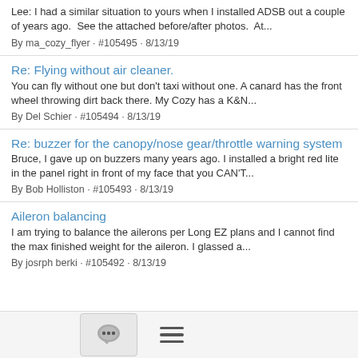Lee: I had a similar situation to yours when I installed ADSB out a couple of years ago.  See the attached before/after photos.  At...
By ma_cozy_flyer · #105495 · 8/13/19
Re: Flying without air cleaner.
You can fly without one but don't taxi without one. A canard has the front wheel throwing dirt back there. My Cozy has a K&N...
By Del Schier · #105494 · 8/13/19
Re: buzzer for the canopy/nose gear/throttle warning system
Bruce, I gave up on buzzers many years ago. I installed a bright red lite in the panel right in front of my face that you CAN'T...
By Bob Holliston · #105493 · 8/13/19
Aileron balancing
I am trying to balance the ailerons per Long EZ plans and I cannot find the max finished weight for the aileron. I glassed a...
By josrph berki · #105492 · 8/13/19